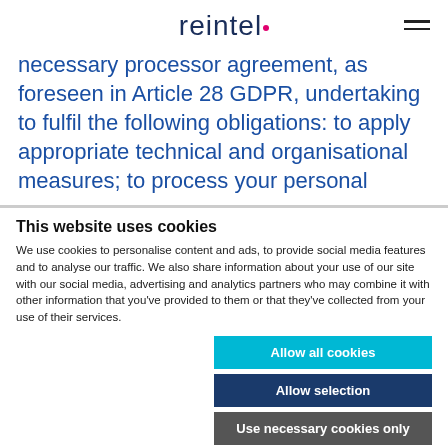reintel
necessary processor agreement, as foreseen in Article 28 GDPR, undertaking to fulfil the following obligations: to apply appropriate technical and organisational measures; to process your personal
This website uses cookies
We use cookies to personalise content and ads, to provide social media features and to analyse our traffic. We also share information about your use of our site with our social media, advertising and analytics partners who may combine it with other information that you've provided to them or that they've collected from your use of their services.
Allow all cookies
Allow selection
Use necessary cookies only
Necessary  Preferences  Statistics  Marketing  Show details